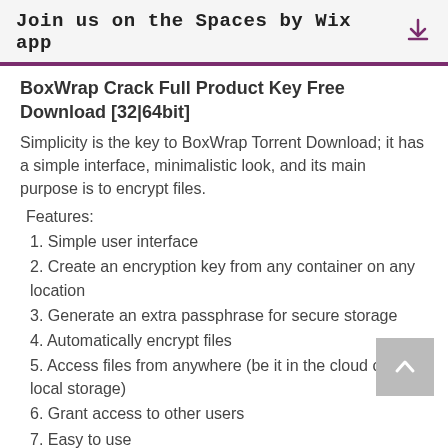Join us on the Spaces by Wix app
BoxWrap Crack Full Product Key Free Download [32|64bit]
Simplicity is the key to BoxWrap Torrent Download; it has a simple interface, minimalistic look, and its main purpose is to encrypt files.
Features:
1. Simple user interface
2. Create an encryption key from any container on any location
3. Generate an extra passphrase for secure storage
4. Automatically encrypt files
5. Access files from anywhere (be it in the cloud or on local storage)
6. Grant access to other users
7. Easy to use